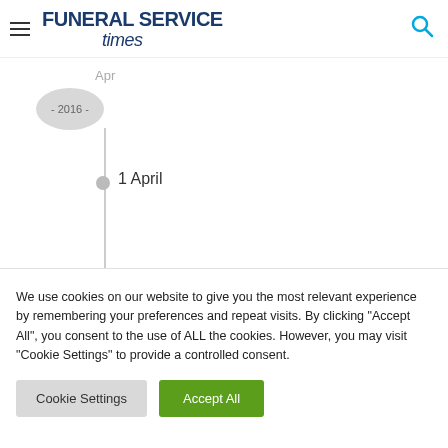Funeral Service Times
Apr
- 2016 -
1 April
We use cookies on our website to give you the most relevant experience by remembering your preferences and repeat visits. By clicking "Accept All", you consent to the use of ALL the cookies. However, you may visit "Cookie Settings" to provide a controlled consent.
Cookie Settings
Accept All